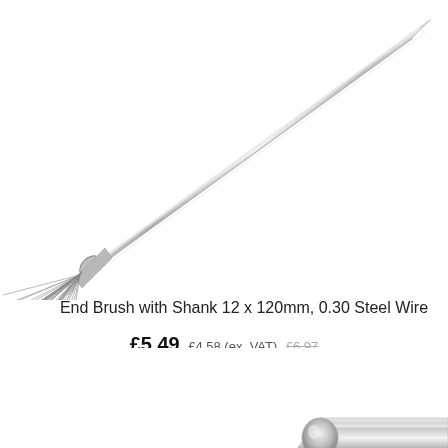[Figure (photo): An end brush with shank tool — a metal cylindrical shank (chrome/steel finish) with a flared wire brush end, photographed diagonally on a white background. The brush end flares outward with steel wire bristles.]
End Brush with Shank 12 x 120mm, 0.30 Steel Wire
£5.49 £4.58 (ex. VAT) £6.97
[Figure (photo): Partial view of another end brush tool with shank, showing the shank end, cropped at the bottom right of the page.]